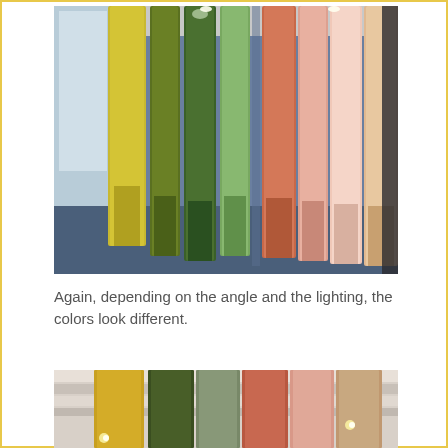[Figure (photo): Colorful fabric panels hanging vertically in a room — yellow-green, olive, dark green, medium green, teal, coral/orange, peach, and light peach — viewed from below against a blue floor, lit by overhead lights.]
Again, depending on the angle and the lighting, the colors look different.
[Figure (photo): A second view of hanging fabric panels including mustard yellow, dark olive green, terracotta/rust, salmon pink, and tan colors, partially cropped, against a white slatted ceiling with spotlights visible.]